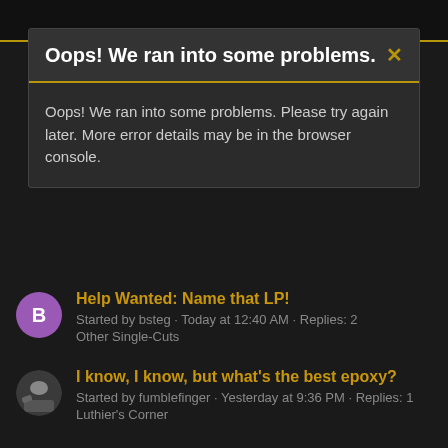Oops! We ran into some problems.
Oops! We ran into some problems. Please try again later. More error details may be in the browser console.
Help Wanted: Name that LP!
Started by bsteg · Today at 12:40 AM · Replies: 2
Other Single-Cuts
I know, I know, but what's the best epoxy?
Started by fumblefinger · Yesterday at 9:36 PM · Replies: 1
Luthier's Corner
Has anyone done this?
Started by beerbelly · Yesterday at 6:59 PM · Replies: 10
Luthier's Corner